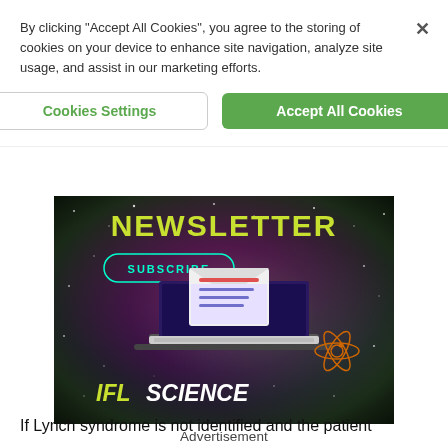By clicking “Accept All Cookies”, you agree to the storing of cookies on your device to enhance site navigation, analyze site usage, and assist in our marketing efforts.
Cookies Settings
Accept All Cookies
[Figure (illustration): IFLScience newsletter promotional banner with space/galaxy background, subscribe button, laptop with envelope graphic, and IFLScience logo]
Advertisement
If Lynch syndrome is not identified and the patient